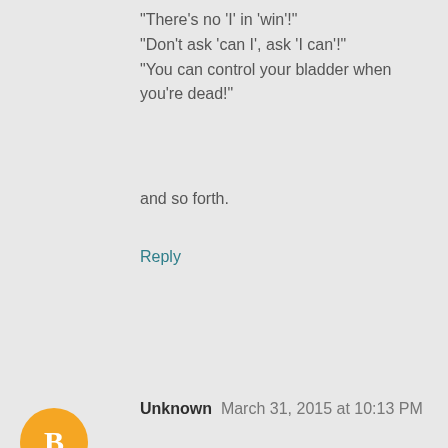"There's no 'I' in 'win'!"
"Don't ask 'can I', ask 'I can'!"
"You can control your bladder when you're dead!"
and so forth.
Reply
Unknown   March 31, 2015 at 10:13 PM
prada shoes
cheap nba jerseys
timberland shoes
salomon shoes
louis vuitton outlet
oakley sunglasses
burberry handbags
iphone 6 case
pandora jewelry
foamposite shoes
mac makeup
fred perry polo shirts
louis vuitton...